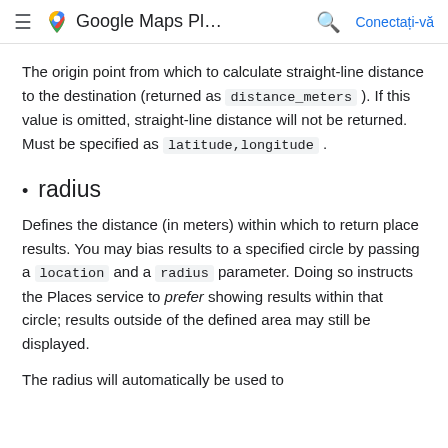Google Maps Pl…  Conectați-vă
The origin point from which to calculate straight-line distance to the destination (returned as distance_meters). If this value is omitted, straight-line distance will not be returned. Must be specified as latitude,longitude.
radius
Defines the distance (in meters) within which to return place results. You may bias results to a specified circle by passing a location and a radius parameter. Doing so instructs the Places service to prefer showing results within that circle; results outside of the defined area may still be displayed.
The radius will automatically be used to...